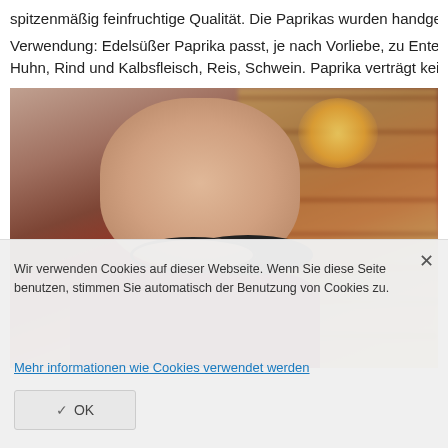spitzenmäßig feinfruchtige Qualität. Die Paprikas wurden handge
Verwendung: Edelsüßer Paprika passt, je nach Vorliebe, zu Ente, Huhn, Rind und Kalbsfleisch, Reis, Schwein. Paprika verträgt keine
[Figure (photo): Close-up photo of an older man with grey hair and black glasses, wearing a dark red/burgundy jacket, looking downward. Blurred shelves with jars are visible in the background with warm orange/amber lighting.]
Wir verwenden Cookies auf dieser Webseite. Wenn Sie diese Seite benutzen, stimmen Sie automatisch der Benutzung von Cookies zu.
Mehr informationen wie Cookies verwendet werden
OK